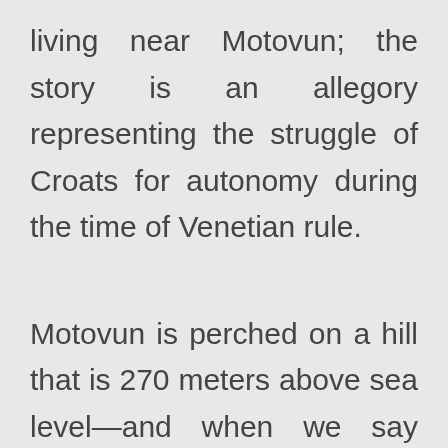living near Motovun; the story is an allegory representing the struggle of Croats for autonomy during the time of Venetian rule.
Motovun is perched on a hill that is 270 meters above sea level—and when we say “perched,” the views from the town’s terraces